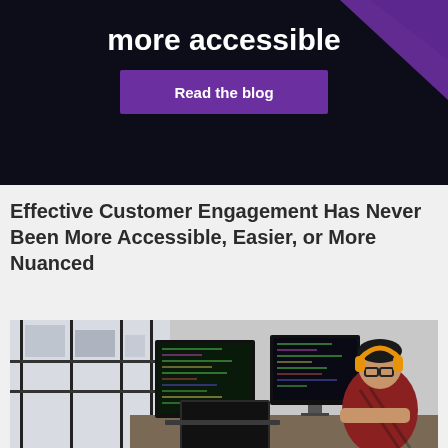[Figure (screenshot): Dark banner advertisement with text 'more accessible' in bold white, a purple 'Read the blog' button, and a purple diagonal stripe in the top right corner.]
Effective Customer Engagement Has Never Been More Accessible, Easier, or More Nuanced
[Figure (photo): A person with orange headphones and glasses sitting at a desk with multiple computer monitors displaying code, in a modern office with large windows overlooking a city.]